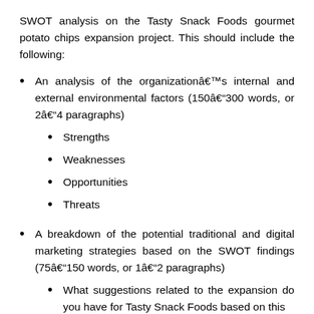SWOT analysis on the Tasty Snack Foods gourmet potato chips expansion project. This should include the following:
An analysis of the organizationâs internal and external environmental factors (150â300 words, or 2âও4 paragraphs)
Strengths
Weaknesses
Opportunities
Threats
A breakdown of the potential traditional and digital marketing strategies based on the SWOT findings (75â150 words, or 1âও2 paragraphs)
What suggestions related to the expansion do you have for Tasty Snack Foods based on this